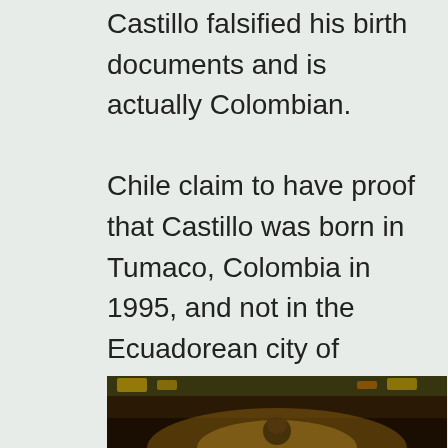Castillo falsified his birth documents and is actually Colombian.

Chile claim to have proof that Castillo was born in Tumaco, Colombia in 1995, and not in the Ecuadorean city of General Villamil Playas in 1998 as stated on his documents.
[Figure (photo): Bottom portion of a photograph showing a person, partially visible, appearing to be at a sporting event with colorful background.]